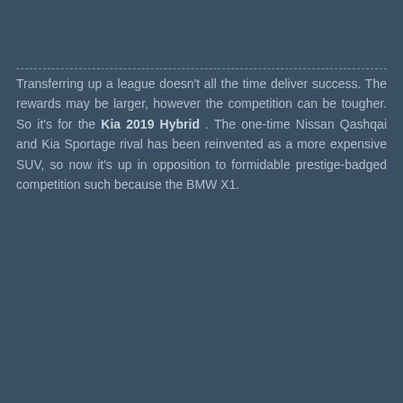Transferring up a league doesn't all the time deliver success. The rewards may be larger, however the competition can be tougher. So it's for the Kia 2019 Hybrid . The one-time Nissan Qashqai and Kia Sportage rival has been reinvented as a more expensive SUV, so now it's up in opposition to formidable prestige-badged competition such because the BMW X1.